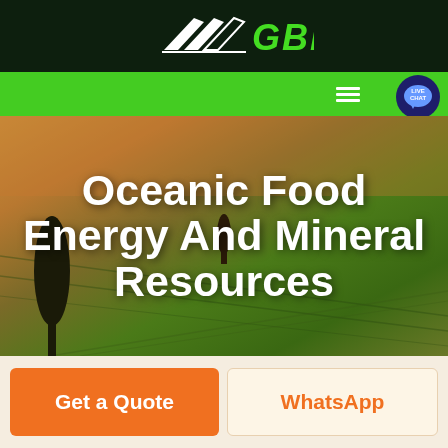[Figure (logo): GBM logo with arrow/chevron graphic in white on dark green background, with green bold italic GBM text]
[Figure (screenshot): Green navigation bar with hamburger menu icon (three white lines) and a Live Chat button with blue speech bubble icon on the right]
[Figure (photo): Aerial photograph of agricultural fields with warm orange-brown tones in the upper portion and green tones in the lower portion, with dark tree silhouettes]
Oceanic Food Energy And Mineral Resources
[Figure (infographic): Two call-to-action buttons: orange 'Get a Quote' button on the left and cream/off-white 'WhatsApp' button with orange text on the right]